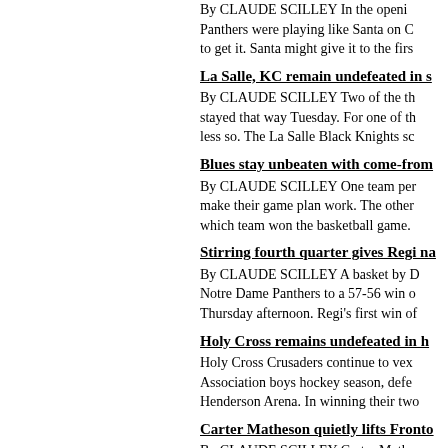By CLAUDE SCILLEY In the opening Panthers were playing like Santa on C to get it. Santa might give it to the first
La Salle, KC remain undefeated in s
By CLAUDE SCILLEY Two of the th stayed that way Tuesday. For one of th less so. The La Salle Black Knights sc
Blues stay unbeaten with come-from
By CLAUDE SCILLEY One team per make their game plan work. The other which team won the basketball game.
Stirring fourth quarter gives Regi na
By CLAUDE SCILLEY A basket by D Notre Dame Panthers to a 57-56 win o Thursday afternoon. Regi's first win of
Holy Cross remains undefeated in h
Holy Cross Crusaders continue to vex Association boys hockey season, defe Henderson Arena. In winning their two
Carter Matheson quietly lifts Fronto
By CLAUDE SCILLEY Carter Mathe team that an opponent may every see. defeated the Bayridge Blazers 56-39 i
La Salle captures title at Queen's hi